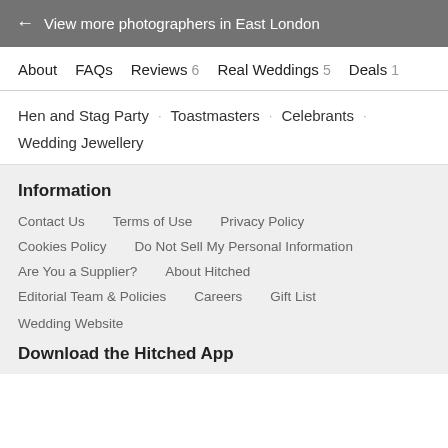← View more photographers in East London
About
FAQs
Reviews 6
Real Weddings 5
Deals 1
Hen and Stag Party · Toastmasters · Celebrants ·
Wedding Jewellery
Information
Contact Us
Terms of Use
Privacy Policy
Cookies Policy
Do Not Sell My Personal Information
Are You a Supplier?
About Hitched
Editorial Team & Policies
Careers
Gift List
Wedding Website
Download the Hitched App